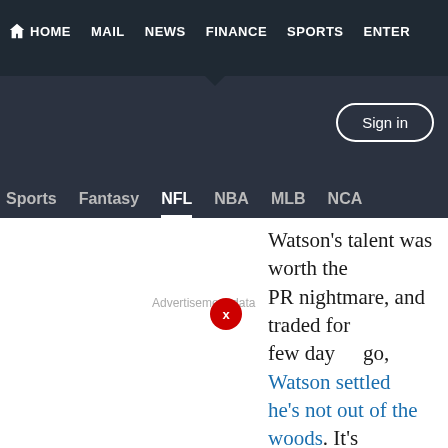HOME  MAIL  NEWS  FINANCE  SPORTS  ENTER
Sign in
Sports  Fantasy  NFL  NBA  MLB  NCA
Watson's talent was worth the PR nightmare, and traded for few days ago, Watson settled he's not out of the woods. It's settling his cases will have any potential suspension. Over the reported by the Washington P seeking a full-season suspensi
While the Watson situation is